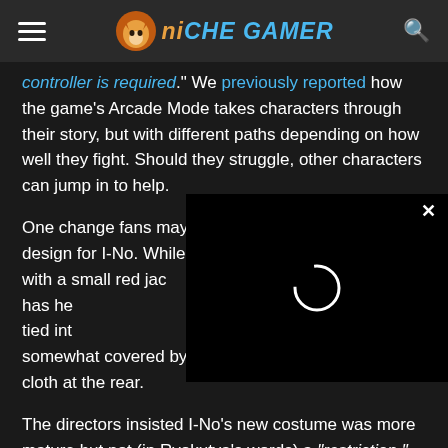Niche Gamer - header with hamburger menu, logo, and search icon
controller is required." We previously reported how the game's Arcade Mode takes characters through their story, but with different paths depending on how well they fight. Should they struggle, other characters can jump in to help.
One change fans may not be happy with is the new design for I-No. While previous screenshots have shown her with a small red jacket/bra that left her exposed breasts, Strive has her wearing a long-sleeve shirt with a large collar tied into a bow. There are now even smaller shorts, somewhat covered by a giant belt and long skirt-like cloth at the rear.
[Figure (screenshot): Black video player overlay with loading spinner circle and X close button in top-right corner]
The directors insisted I-No's new costume was more mature but not (in Ryokutya's words) a "restriction," but "a change in expression to make the game more